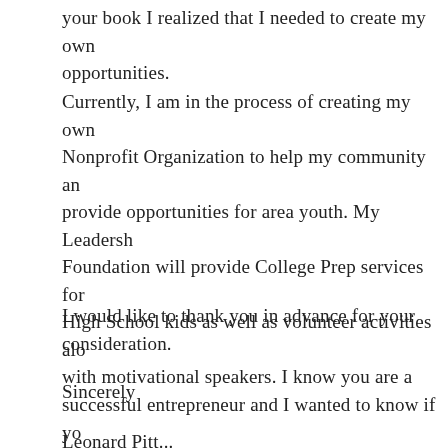your book I realized that I needed to create my own opportunities.
Currently, I am in the process of creating my own Nonprofit Organization to help my community and provide opportunities for area youth. My Leadership Foundation will provide College Prep services for High School kids as well as volunteer activities along with motivational speakers. I know you are a successful entrepreneur and I wanted to know if you had any suggestions with building a successful brand would you consider mentoring me?
I would like to thank you in advance for your consideration.
Sincerely
Leonard Pitt...